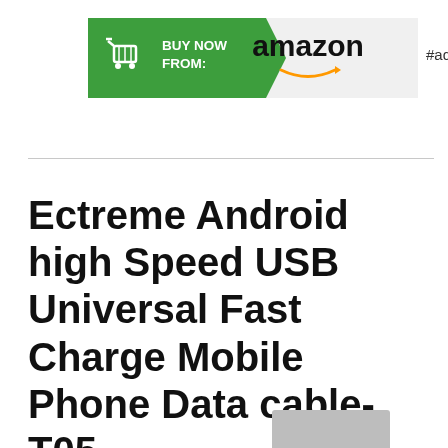[Figure (other): Amazon 'Buy Now From' advertisement banner with green arrow shape on left containing shopping cart icon and 'BUY NOW FROM:' text, and Amazon logo on right grey section. '#ad' label to the right.]
Ectreme Android high Speed USB Universal Fast Charge Mobile Phone Data cable-T05
[Figure (photo): Partial product image visible at bottom of page, grey rectangular shape]